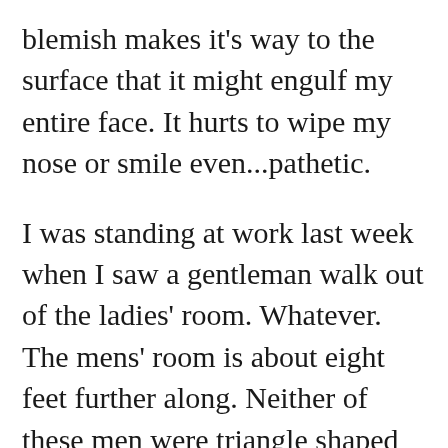blemish makes it's way to the surface that it might engulf my entire face. It hurts to wipe my nose or smile even...pathetic.
I was standing at work last week when I saw a gentleman walk out of the ladies' room. Whatever. The mens' room is about eight feet further along. Neither of these men were triangle shaped or wearing dresses. The facilities are pretty much the